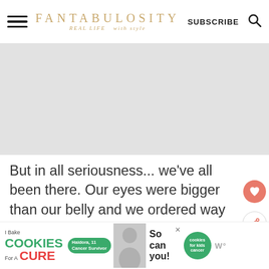FANTABULOSITY — REAL LIFE with style — SUBSCRIBE
[Figure (other): Gray placeholder advertisement banner area]
But in all seriousness... we've all been there. Our eyes were bigger than our belly and we ordered way too many donuts. So when they start to get a little stale, it's hard to throw away
[Figure (other): Bottom advertisement banner: I Bake COOKIES For A CURE — Haidora, 11 Cancer Survivor — So can you! — cookies for kids cancer logo]